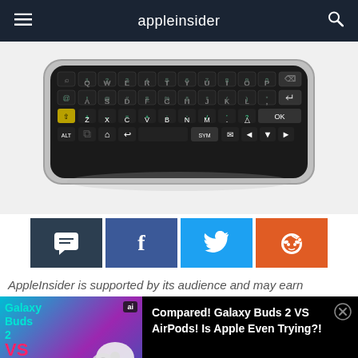appleinsider
[Figure (photo): A physical QWERTY keyboard accessory for a smartphone, shown in landscape orientation with a full keyboard layout including numeric row, QWERTY keys, ASDF row, ZXCV row, and a bottom function/symbol row. The device has a dark bezel with silver trim.]
[Figure (infographic): Social sharing buttons row: dark comment/chat icon, Facebook blue with 'f' icon, Twitter blue with bird icon, Reddit orange with Reddit alien icon.]
AppleInsider is supported by its audience and may earn
[Figure (photo): Advertisement thumbnail showing Galaxy Buds 2 VS AirPods comparison with earbuds product image on gradient background with 'ai' badge.]
Compared! Galaxy Buds 2 VS AirPods! Is Apple Even Trying?!